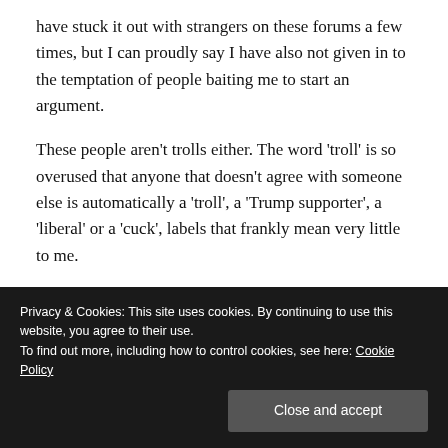have stuck it out with strangers on these forums a few times, but I can proudly say I have also not given in to the temptation of people baiting me to start an argument.
These people aren't trolls either. The word 'troll' is so overused that anyone that doesn't agree with someone else is automatically a 'troll', a 'Trump supporter', a 'liberal' or a 'cuck', labels that frankly mean very little to me.
Jilted and jaded expats
There is a clear grouping of people that think there is nothing redeemable about Taiwan but still decide to reside
Privacy & Cookies: This site uses cookies. By continuing to use this website, you agree to their use.
To find out more, including how to control cookies, see here: Cookie Policy
Close and accept